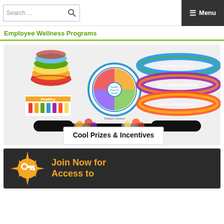Search ... ☰ Menu
Employee Wellness Programs
[Figure (illustration): Promotional graphic showing cool prizes and incentives: colorful stacked bowls, a healthy plate diagram, rubber wristbands reading 'Go Farm to Table', 'Get a Groove to Move', 'Every Day with Good Nutrition', a Healthy logo card, novelty glasses decorated with fruits and vegetables, and a white rectangle with text 'Cool Prizes & Incentives']
[Figure (illustration): Dark banner with a gold/yellow sunburst icon with a key silhouette in the center, and orange bold text reading 'Join Now for Access to']